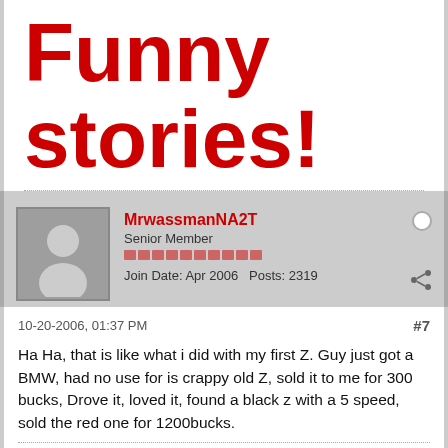Funny stories!
MrwassmanNA2T
Senior Member
Join Date: Apr 2006  Posts: 2319
10-20-2006, 01:37 PM
#7
Ha Ha, that is like what i did with my first Z. Guy just got a BMW, had no use for is crappy old Z, sold it to me for 300 bucks, Drove it, loved it, found a black z with a 5 speed, sold the red one for 1200bucks.
[Figure (photo): Partial thumbnail images visible at bottom of page]